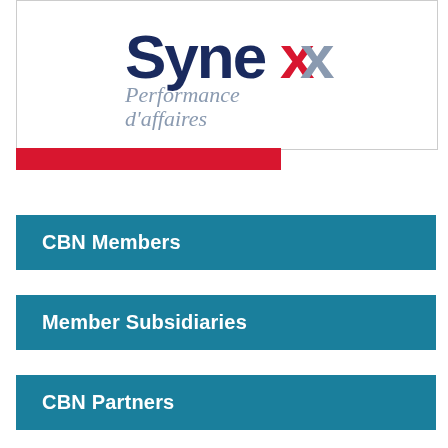[Figure (logo): Synex Performance d'affaires logo — 'Synex' in dark navy blue with a red/grey X, subtitle 'Performance d'affaires' in grey italic font, inside a white box with thin grey border]
CBN Members
Member Subsidiaries
CBN Partners